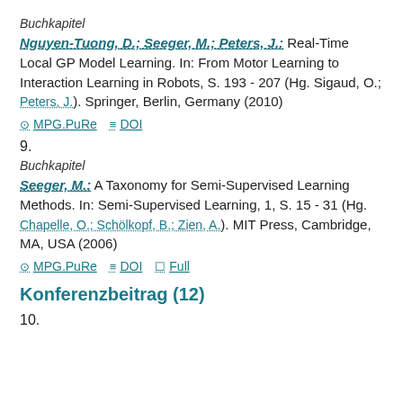Buchkapitel
Nguyen-Tuong, D.; Seeger, M.; Peters, J.: Real-Time Local GP Model Learning. In: From Motor Learning to Interaction Learning in Robots, S. 193 - 207 (Hg. Sigaud, O.; Peters, J.). Springer, Berlin, Germany (2010)
MPG.PuRe  DOI
9.
Buchkapitel
Seeger, M.: A Taxonomy for Semi-Supervised Learning Methods. In: Semi-Supervised Learning, 1, S. 15 - 31 (Hg. Chapelle, O.; Schölkopf, B.; Zien, A.). MIT Press, Cambridge, MA, USA (2006)
MPG.PuRe  DOI  Full
Konferenzbeitrag (12)
10.